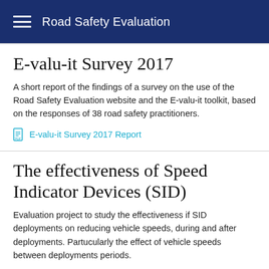Road Safety Evaluation
E-valu-it Survey 2017
A short report of the findings of a survey on the use of the Road Safety Evaluation website and the E-valu-it toolkit, based on the responses of 38 road safety practitioners.
E-valu-it Survey 2017 Report
The effectiveness of Speed Indicator Devices (SID)
Evaluation project to study the effectiveness if SID deployments on reducing vehicle speeds, during and after deployments. Partucularly the effect of vehicle speeds between deployments periods.